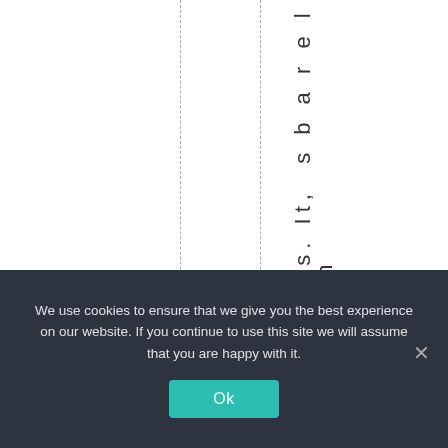opics. It, s b a r e l y t h
We use cookies to ensure that we give you the best experience on our website. If you continue to use this site we will assume that you are happy with it. Ok